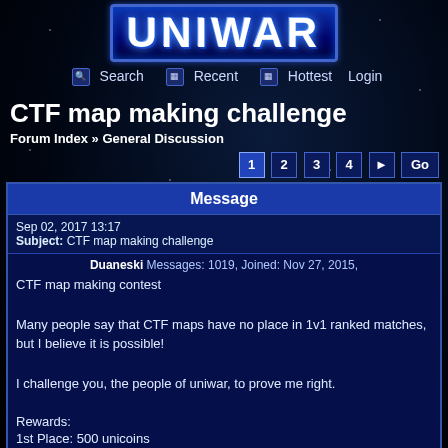[Figure (logo): UniWar game logo in blue metallic style with white outlined text]
Search  Recent  Hottest  Login
CTF map making challenge
Forum Index » General Discussion
1 2 3 4 ► Go
Message
Sep 02, 2017 13:17
Subject: CTF map making challenge
Duaneski Messages: 1019, Joined: Nov 27, 2015,
CTF map making contest

Many people say that CTF maps have no place in 1v1 ranked matches, but I believe it is possible!

I challenge you, the people of uniwar, to prove me right.

Rewards:
1st Place: 500 unicoins
2nd Place: 300 unicoins
3rd Place: 200 unicoins